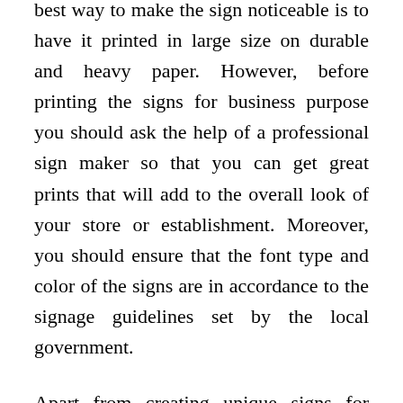best way to make the sign noticeable is to have it printed in large size on durable and heavy paper. However, before printing the signs for business purpose you should ask the help of a professional sign maker so that you can get great prints that will add to the overall look of your store or establishment. Moreover, you should ensure that the font type and color of the signs are in accordance to the signage guidelines set by the local government.
Apart from creating unique signs for business purpose there are several other uses of custom signs. These signs can be used to announce the special offers and discounts on certain products. Moreover, these signs can also be used as a guide for people who are new to a particular place. The business owners can use custom signs to display the contact details of their store or